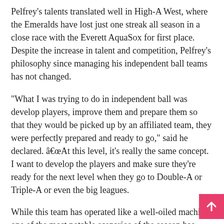Pelfrey's talents translated well in High-A West, where the Emeralds have lost just one streak all season in a close race with the Everett AquaSox for first place. Despite the increase in talent and competition, Pelfrey's philosophy since managing his independent ball teams has not changed.
“What I was trying to do in independent ball was develop players, improve them and prepare them so that they would be picked up by an affiliated team, they were perfectly prepared and ready to go,” said he declared. â€œAt this level, it’s really the same concept. I want to develop the players and make sure they’re ready for the next level when they go to Double-A or Triple-A or even the big leagues.
While this team has operated like a well-oiled machine, one of the most notable scenarios of the season has been the number of strikeouts the pitching staff have posted. They lead the High-A West with 582 punchouts in 465 2/3 innings, good for an 11.25 K/9...